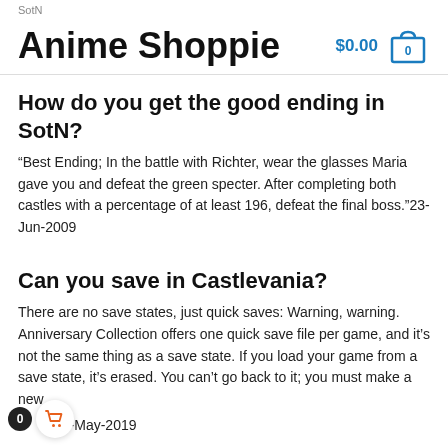SotN
Anime Shoppie
How do you get the good ending in SotN?
“Best Ending; In the battle with Richter, wear the glasses Maria gave you and defeat the green specter. After completing both castles with a percentage of at least 196, defeat the final boss.”23-Jun-2009
Can you save in Castlevania?
There are no save states, just quick saves: Warning, warning. Anniversary Collection offers one quick save file per game, and it’s not the same thing as a save state. If you load your game from a save state, it’s erased. You can’t go back to it; you must make a new 13-May-2019